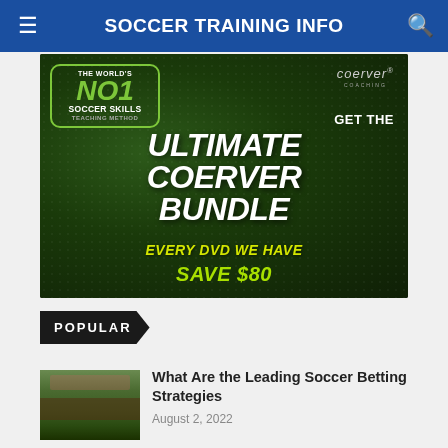SOCCER TRAINING INFO
[Figure (photo): Coerver Coaching advertisement banner. Text reads: THE WORLD'S NO1 SOCCER SKILLS TEACHING METHOD | coerver COACHING | GET THE ULTIMATE COERVER BUNDLE | EVERY DVD WE HAVE | SAVE $80]
POPULAR
[Figure (photo): Thumbnail photo of a soccer stadium with green pitch and red stadium seating]
What Are the Leading Soccer Betting Strategies
August 2, 2022